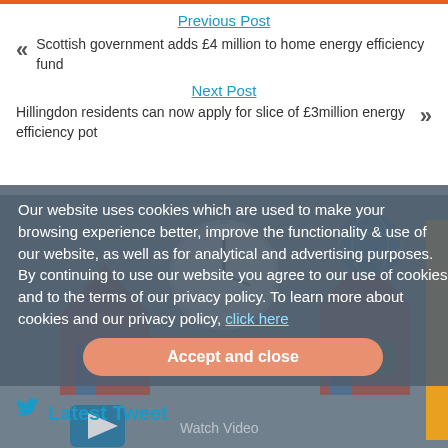Previous Post
Scottish government adds £4 million to home energy efficiency fund
Next Post
Hillingdon residents can now apply for slice of £3million energy efficiency pot
Our website uses cookies which are used to make your browsing experience better, improve the functionality & use of our website, as well as for analytical and advertising purposes. By continuing to use our website you agree to our use of cookies and to the terms of our privacy policy. To learn more about cookies and our privacy policy, click here
Accept and close
Latest Tweet